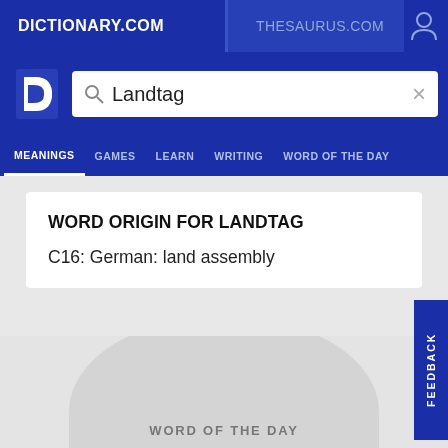DICTIONARY.COM
THESAURUS.COM
Landtag
MEANINGS   GAMES   LEARN   WRITING   WORD OF THE DAY
WORD ORIGIN FOR LANDTAG
C16: German: land assembly
COLLINS ENGLISH DICTIONARY - COMPLETE & UNABRIDGED 2012 DIGITAL EDITION
© WILLIAM COLLINS SONS & CO. LTD. 1979, 1986 © HARPERCOLLINS PUBLISHERS 1998, 2000, 2003, 2005, 2006, 2007, 2009, 2012
WORD OF THE DAY
FEEDBACK